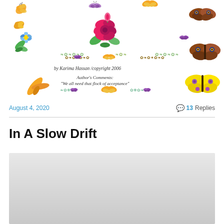[Figure (illustration): Decorative illustration with colorful butterflies (yellow, blue, purple, orange, brown/peacock), pink and red flowers, green leaves, and ornamental divider borders with small butterfly and flower motifs. Text reads 'by Karima Hassan /copyright 2006' and 'Author's Comments: "We all need that flock of acceptance"']
August 4, 2020
💬 13 Replies
In A Slow Drift
[Figure (photo): Gray gradient image placeholder at bottom of page]